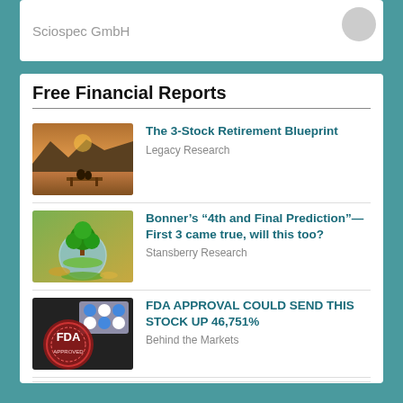Sciospec GmbH
Free Financial Reports
[Figure (photo): Couple sitting on a dock by a lake with mountains in the background at sunset]
The 3-Stock Retirement Blueprint
Legacy Research
[Figure (photo): A small green tree growing inside a glass globe on a bed of leaves]
Bonner’s “4th and Final Prediction”—First 3 came true, will this too?
Stansberry Research
[Figure (photo): FDA approval stamp next to blue and white pills on a dark background]
FDA APPROVAL COULD SEND THIS STOCK UP 46,751%
Behind the Markets